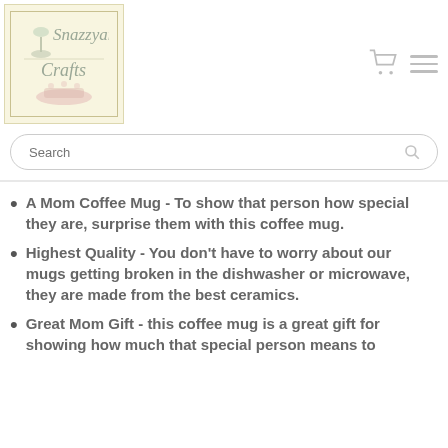[Figure (logo): Snazzyart Crafts logo — cursive text on cream/yellow background with decorative elements]
[Figure (other): Shopping cart icon and hamburger menu icon in top right]
Search
A Mom Coffee Mug - To show that person how special they are, surprise them with this coffee mug.
Highest Quality - You don't have to worry about our mugs getting broken in the dishwasher or microwave, they are made from the best ceramics.
Great Mom Gift - this coffee mug is a great gift for showing how much that special person means to